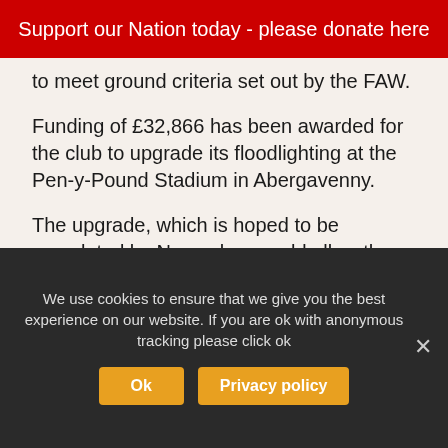Support our Nation today - please donate here
to meet ground criteria set out by the FAW.
Funding of £32,866 has been awarded for the club to upgrade its floodlighting at the Pen-y-Pound Stadium in Abergavenny.
The upgrade, which is hoped to be completed by November, could allow the team to win back promotion from the Ardan League South which it is competing in this season.
[Figure (photo): Dark grey/charcoal background image, partially visible at bottom of page]
We use cookies to ensure that we give you the best experience on our website. If you are ok with anonymous tracking please click ok